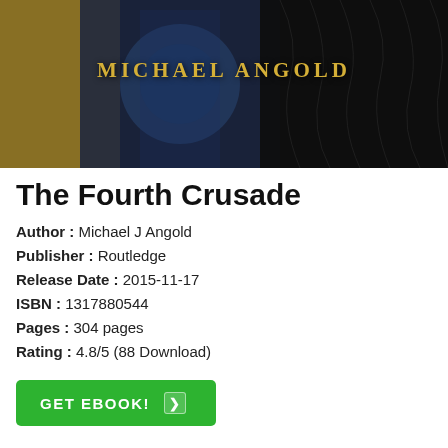[Figure (illustration): Book cover image showing decorative artwork with blue and gold tones, featuring the author name MICHAEL ANGOLD in gold letters on a dark illustrated background]
The Fourth Crusade
Author : Michael J Angold
Publisher : Routledge
Release Date : 2015-11-17
ISBN : 1317880544
Pages : 304 pages
Rating : 4.8/5 (88 Download)
GET EBOOK!
Download Free The Fourth Crusade PDF by Michael J Angold Full Book and published by Routledge. This book was released on 2015-11-17 with total page 304 pages. Available in PDF, EPUB and Kindle. Book excerpt: The